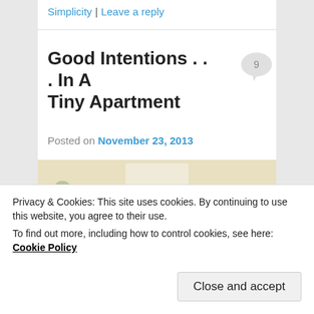Simplicity | Leave a reply
Good Intentions . . . In A Tiny Apartment
Posted on November 23, 2013
[Figure (photo): Interior photo of a small apartment room showing ceiling, wall light fixture, and a shelf area with objects]
Privacy & Cookies: This site uses cookies. By continuing to use this website, you agree to their use.
To find out more, including how to control cookies, see here: Cookie Policy
Close and accept